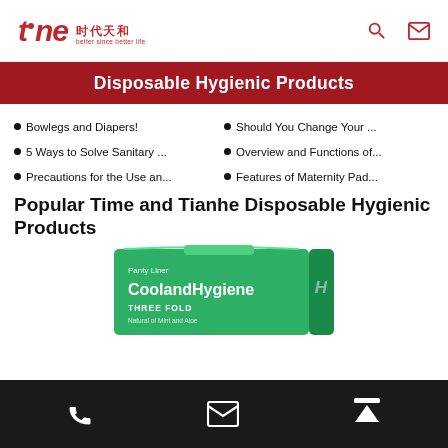tine 时代天和 better since better life
Disposable Hygienic Products
Bowlegs and Diapers!
Should You Change Your ...
5 Ways to Solve Sanitary ...
Overview and Functions of...
Precautions for the Use an...
Features of Maternity Pad...
Popular Time and Tianhe Disposable Hygienic Products
[Figure (photo): Green box of CoolandHygiene Panty Liner Three Fold product]
Phone | Email | Scroll to top